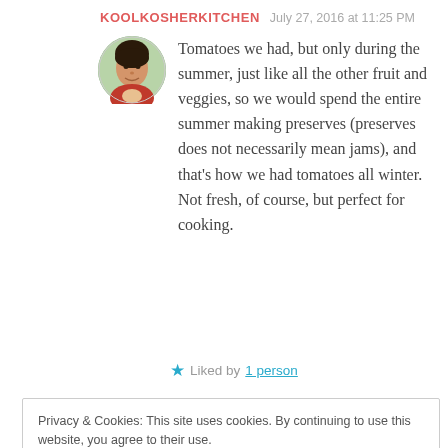KOOLKOSHERKITCHEN   July 27, 2016 at 11:25 PM
[Figure (photo): Circular avatar photo of a woman]
Tomatoes we had, but only during the summer, just like all the other fruit and veggies, so we would spend the entire summer making preserves (preserves does not necessarily mean jams), and that's how we had tomatoes all winter. Not fresh, of course, but perfect for cooking.
★ Liked by 1 person
Privacy & Cookies: This site uses cookies. By continuing to use this website, you agree to their use.
To find out more, including how to control cookies, see here: Cookie Policy
Close and accept
that it was made to replace sour